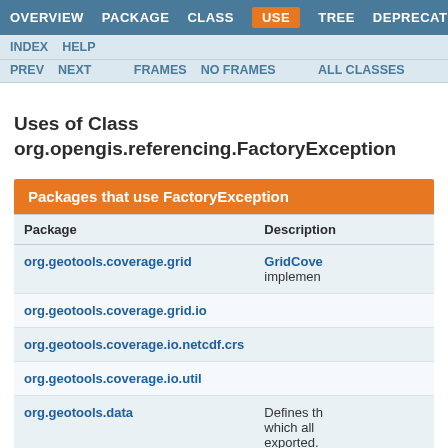OVERVIEW  PACKAGE  CLASS  USE  TREE  DEPRECATED
INDEX  HELP  PREV  NEXT  FRAMES  NO FRAMES  ALL CLASSES
Uses of Class org.opengis.referencing.FactoryException
Packages that use FactoryException
| Package | Description |
| --- | --- |
| org.geotools.coverage.grid | GridCove... implemen... |
| org.geotools.coverage.grid.io |  |
| org.geotools.coverage.io.netcdf.crs |  |
| org.geotools.coverage.io.util |  |
| org.geotools.data | Defines th... which all... exported. |